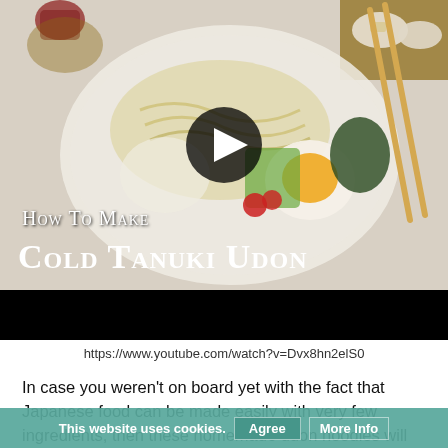[Figure (photo): Bowl of Cold Tanuki Udon with toppings including noodles, boiled egg, cherry tomatoes, greens, and seaweed, with chopsticks resting on the bowl. Overlay text reads 'How To Make Cold Tanuki Udon'. A video play button is centered on the image.]
https://www.youtube.com/watch?v=Dvx8hn2elS0
In case you weren't on board yet with the fact that Japanese food can be made easily with very few ingredients, then these homemade udon noodles will surely make you a believer. All you need are four simple ingredients, and most of them you'll likely have at home. They are flour, salt, water and cornstarch. You'll only be a few simple steps away from opening your own noodle